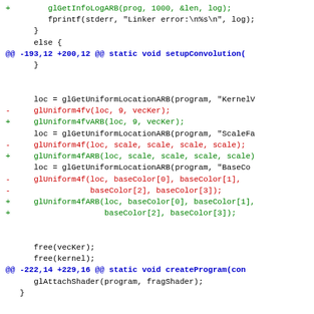[Figure (screenshot): A unified diff showing code changes from OpenGL functions to ARB extension variants (glLinkProgram to glLinkProgramARB, glUniform4f to glUniform4fARB, etc.) in a C source file. Removed lines shown in red with '-', added lines in green with '+', hunk headers in blue.]